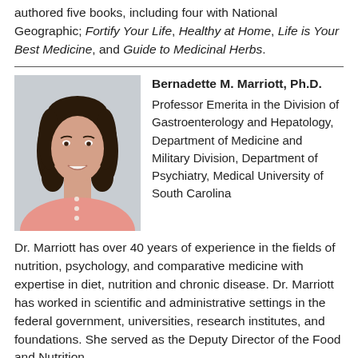authored five books, including four with National Geographic; Fortify Your Life, Healthy at Home, Life is Your Best Medicine, and Guide to Medicinal Herbs.
[Figure (photo): Headshot of Bernadette M. Marriott, a woman with dark shoulder-length hair, wearing a pink top, smiling]
Bernadette M. Marriott, Ph.D. Professor Emerita in the Division of Gastroenterology and Hepatology, Department of Medicine and Military Division, Department of Psychiatry, Medical University of South Carolina
Dr. Marriott has over 40 years of experience in the fields of nutrition, psychology, and comparative medicine with expertise in diet, nutrition and chronic disease. Dr. Marriott has worked in scientific and administrative settings in the federal government, universities, research institutes, and foundations. She served as the Deputy Director of the Food and Nutrition